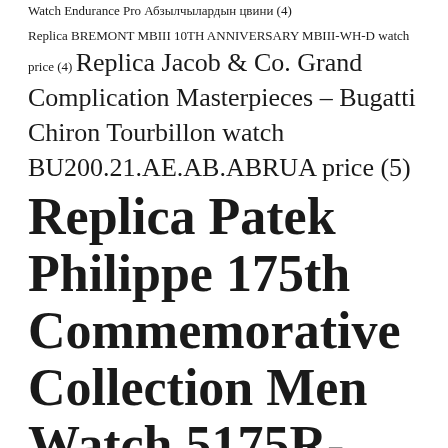Watch Endurance Pro Абзылчылардын цвини (4)
Replica BREMONT MBIII 10TH ANNIVERSARY MBIII-WH-D watch price (4) Replica Jacob & Co. Grand Complication Masterpieces – Bugatti Chiron Tourbillon watch BU200.21.AE.AB.ABRUA price (5)
Replica Patek Philippe 175th Commemorative Collection Men Watch 5175R-001 – Rose Gold (7) Replica Patek Philippe 175th Commemorative Collection Men Watch 5275P-001 – Platinum (4) Replica Watch Patek Philippe Ref. 6300A Grandmaster Chime Edition 6300A-010 (4)
Richard Mille RM 067 watch RM 67-02 Automatic Alexander Zverev (4) Richard Mille RM 27-04 Tourbillon Rafael Nadal Replica